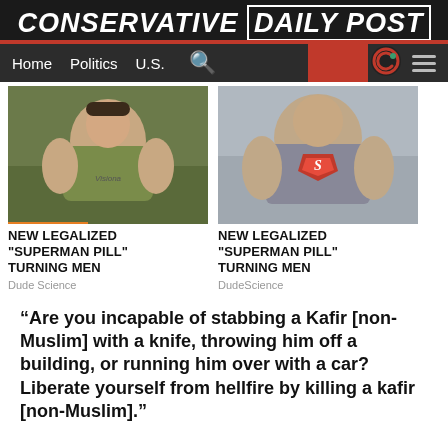CONSERVATIVE DAILY POST
Home  Politics  U.S.
[Figure (photo): Muscular man in olive green t-shirt with 'Visionary' text]
[Figure (photo): Muscular man in grey Superman t-shirt]
NEW LEGALIZED "SUPERMAN PILL" TURNING MEN
Dude Science
NEW LEGALIZED "SUPERMAN PILL" TURNING MEN
DudeScience
“Are you incapable of stabbing a Kafir [non-Muslim] with a knife, throwing him off a building, or running him over with a car? Liberate yourself from hellfire by killing a kafir [non-Muslim].”